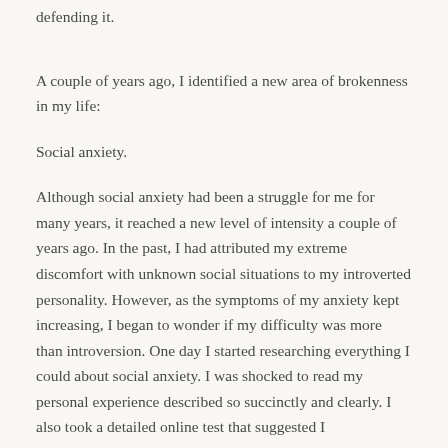defending it.
A couple of years ago, I identified a new area of brokenness in my life:
Social anxiety.
Although social anxiety had been a struggle for me for many years, it reached a new level of intensity a couple of years ago. In the past, I had attributed my extreme discomfort with unknown social situations to my introverted personality. However, as the symptoms of my anxiety kept increasing, I began to wonder if my difficulty was more than introversion. One day I started researching everything I could about social anxiety. I was shocked to read my personal experience described so succinctly and clearly. I also took a detailed online test that suggested I